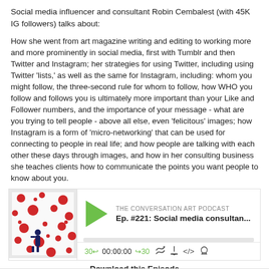Social media influencer and consultant Robin Cembalest (with 45K IG followers) talks about:
How she went from art magazine writing and editing to working more and more prominently in social media, first with Tumblr and then Twitter and Instagram; her strategies for using Twitter, including using Twitter 'lists,' as well as the same for Instagram, including: whom you might follow, the three-second rule for whom to follow, how WHO you follow and follows you is ultimately more important than your Like and Follower numbers, and the importance of your message - what are you trying to tell people - above all else, even 'felicitous' images; how Instagram is a form of 'micro-networking' that can be used for connecting to people in real life; and how people are talking with each other these days through images, and how in her consulting business she teaches clients how to communicate the points you want people to know about you.
[Figure (screenshot): Podcast player widget for 'The Conversation Art Podcast' episode #221 about social media consulting, showing thumbnail image, play button, episode title, progress bar, and playback controls.]
Download this Episode